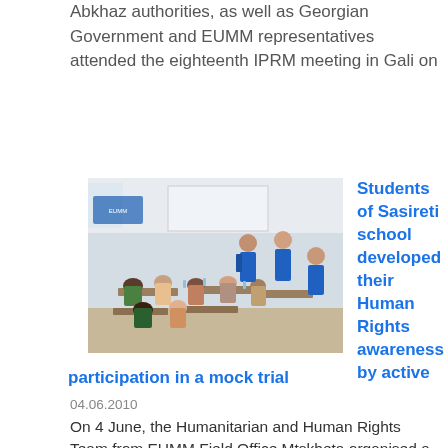Abkhaz authorities, as well as Georgian Government and EUMM representatives attended the eighteenth IPRM meeting in Gali on
[Figure (photo): Photo of a human rights workshop at Sasireti School. People are seated in a classroom setting with presenters standing at the front, wearing blue vests.]
Students of Sasireti school developed their Human Rights awareness by active participation in a mock trial
participation in a mock trial
04.06.2010
On 4 June, the Humanitarian and Human Rights Team from EUMM Field Office Mtskheta organised a human rights workshop at Sasireti School near Kaspi. The workshop